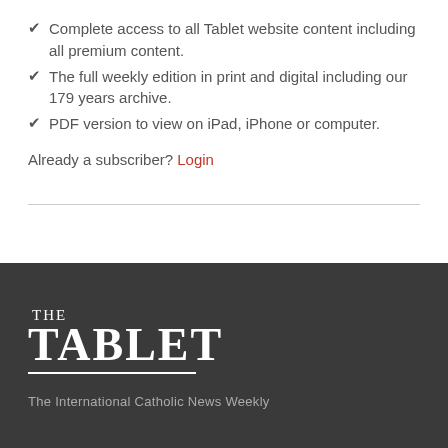Complete access to all Tablet website content including all premium content.
The full weekly edition in print and digital including our 179 years archive.
PDF version to view on iPad, iPhone or computer.
Already a subscriber? Login
[Figure (logo): The Tablet logo - 'THE TABLET' in white serif font on dark background with underline]
The International Catholic News Weekly